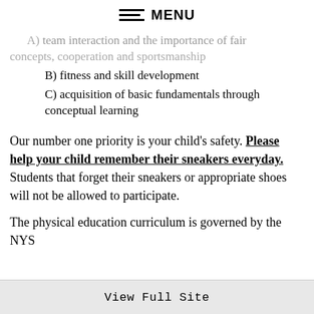MENU
A) team interaction and the importance of fair concepts, cooperation and sportsmanship (truncated top)
B) fitness and skill development
C) acquisition of basic fundamentals through conceptual learning
Our number one priority is your child's safety. Please help your child remember their sneakers everyday. Students that forget their sneakers or appropriate shoes will not be allowed to participate.
The physical education curriculum is governed by the NYS
View Full Site